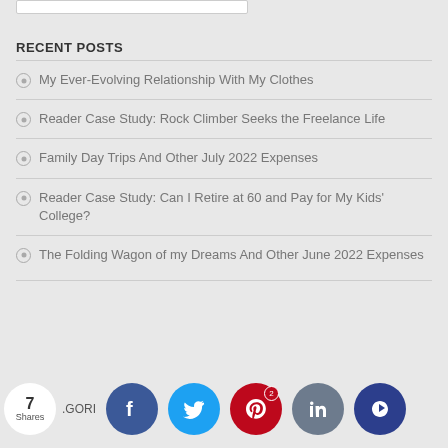RECENT POSTS
My Ever-Evolving Relationship With My Clothes
Reader Case Study: Rock Climber Seeks the Freelance Life
Family Day Trips And Other July 2022 Expenses
Reader Case Study: Can I Retire at 60 and Pay for My Kids' College?
The Folding Wagon of my Dreams And Other June 2022 Expenses